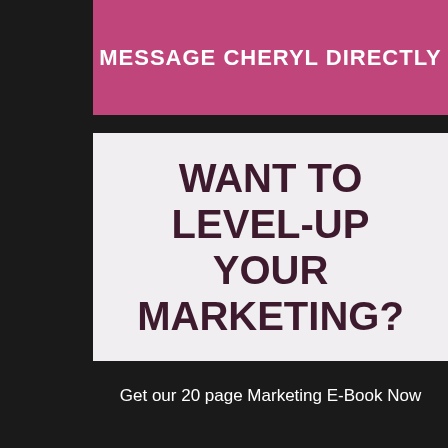MESSAGE CHERYL DIRECTLY
[Figure (infographic): Promotional box with bold dark maroon text on light gray background reading WANT TO LEVEL-UP YOUR MARKETING?]
Get our 20 page Marketing E-Book Now
Name
Email